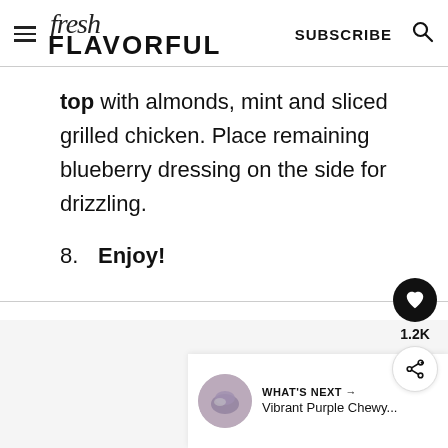fresh FLAVORFUL — SUBSCRIBE
top with almonds, mint and sliced grilled chicken. Place remaining blueberry dressing on the side for drizzling.
8. Enjoy!
[Figure (other): Heart/like button (filled heart icon on black circle), like count 1.2K, share button (share icon on white circle)]
[Figure (photo): Thumbnail image of a purple chewy food item, circular crop]
WHAT'S NEXT → Vibrant Purple Chewy...